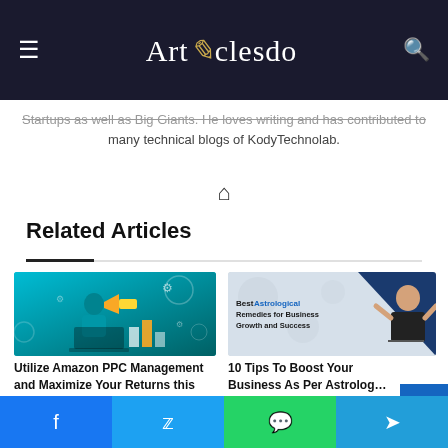Articlesdo
Startups as well as Big Giants. He loves writing and has contributed to many technical blogs of KodyTechnolab.
Related Articles
[Figure (illustration): Thumbnail for Amazon PPC Management article - person with megaphone and digital marketing graphics on cyan background]
Utilize Amazon PPC Management and Maximize Your Returns this
[Figure (illustration): Thumbnail for Astrological Remedies article - text overlay with businessman celebrating, dark blue and grey design]
10 Tips To Boost Your Business As Per Astrolog…
July 30, 2021